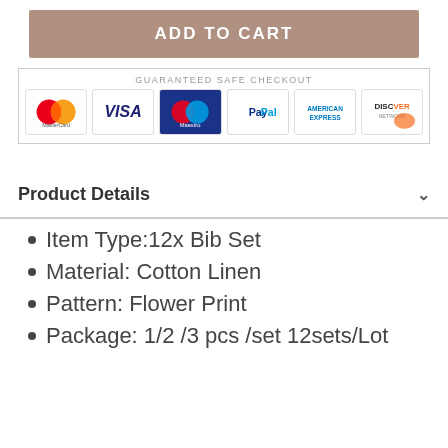ADD TO CART
[Figure (other): Guaranteed Safe Checkout section with payment method logos: MasterCard, Visa, Maestro, PayPal, American Express, Discover]
Product Details
Item Type:12x Bib Set
Material: Cotton Linen
Pattern: Flower Print
Package: 1/2 /3 pcs /set 12sets/Lot